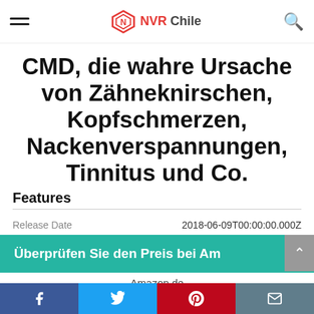NVR Chile
CMD, die wahre Ursache von Zähneknirschen, Kopfschmerzen, Nackenverspannungen, Tinnitus und Co.
Überprüfen Sie den Preis bei Am
Amazon.de
Features
|  |  |
| --- | --- |
| Release Date | 2018-06-09T00:00:00.000Z |